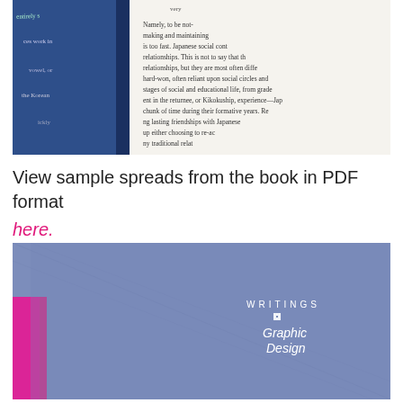[Figure (photo): Photo of open book pages showing English text about Japanese social relationships and friendships]
View sample spreads from the book in PDF format here.
[Figure (photo): Photo of a blue fabric-covered book with white lettering reading 'WRITINGS on Graphic Design', with pink/magenta visible at the left spine edge]